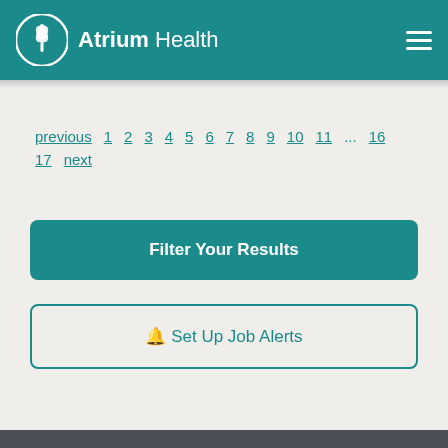Atrium Health
previous 1 2 3 4 5 6 7 8 9 10 11 ... 16 17 next
Filter Your Results
Set Up Job Alerts